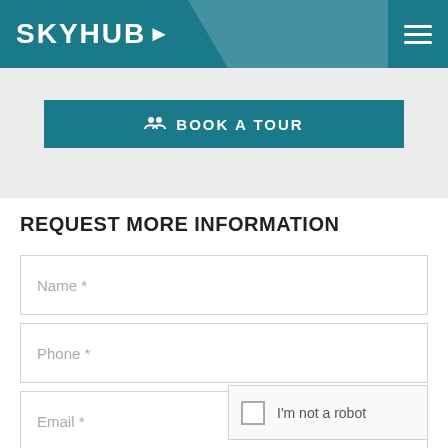SKYHUB
[Figure (screenshot): Book a tour teal button with people icon]
REQUEST MORE INFORMATION
Name *
Phone *
Email *
I am interested in 499-4 Oakvale Dr, Waterloo, M5V4B3
I'm not a robot